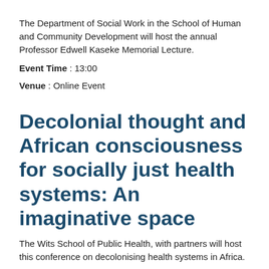The Department of Social Work in the School of Human and Community Development will host the annual Professor Edwell Kaseke Memorial Lecture.
Event Time : 13:00
Venue : Online Event
Decolonial thought and African consciousness for socially just health systems: An imaginative space
The Wits School of Public Health, with partners will host this conference on decolonising health systems in Africa.
Event Time : 14:00